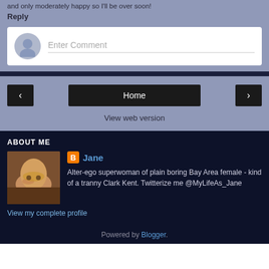and only moderately happy so I'll be over soon!
Reply
Enter Comment
Home
View web version
ABOUT ME
Jane
Alter-ego superwoman of plain boring Bay Area female - kind of a tranny Clark Kent. Twitterize me @MyLifeAs_Jane
View my complete profile
Powered by Blogger.